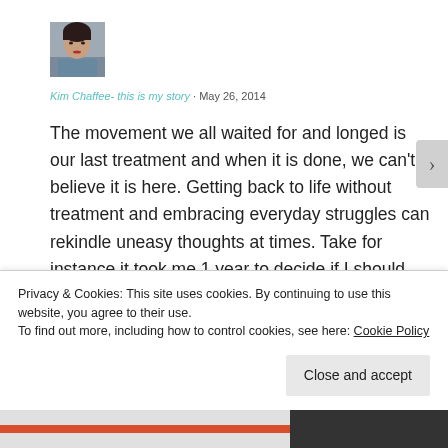[Figure (photo): Small square avatar photo of a woman with dark short hair and red lipstick]
Kim Chaffee- this is my story · May 26, 2014
The movement we all waited for and longed is our last treatment and when it is done, we can't believe it is here. Getting back to life without treatment and embracing everyday struggles can rekindle uneasy thoughts at times. Take for instance it took me 1 year to decide if I should dye my hair, that was developing a little gray
Privacy & Cookies: This site uses cookies. By continuing to use this website, you agree to their use.
To find out more, including how to control cookies, see here: Cookie Policy
Close and accept